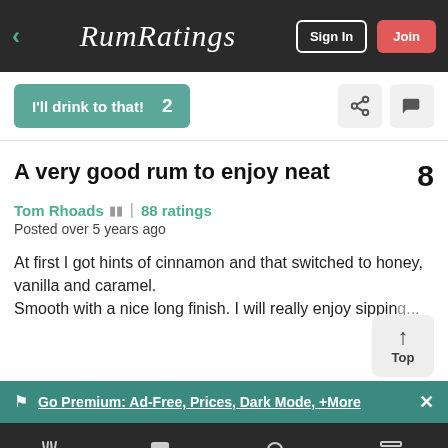RumRatings — Sign In | Join
I'll drink to that!  2
A very good rum to enjoy neat  8
Tom Rhoads  🍺🍺  |  88 ratings
Posted over 5 years ago
At first I got hints of cinnamon and that switched to honey, vanilla and caramel.
Smooth with a nice long finish. I will really enjoy sipping...
Go Premium: Ad-Free, Prices, Dark Mode, +More
Rum | Discuss | Search | Stream